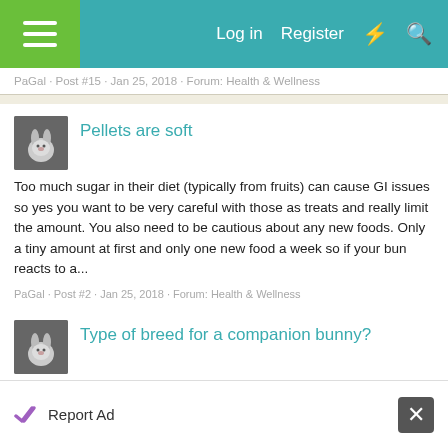Log in  Register
PaGal · Post #15 · Jan 25, 2018 · Forum: Health & Wellness
Pellets are soft
Too much sugar in their diet (typically from fruits) can cause GI issues so yes you want to be very careful with those as treats and really limit the amount. You also need to be cautious about any new foods. Only a tiny amount at first and only one new food a week so if your bun reacts to a...
PaGal · Post #2 · Jan 25, 2018 · Forum: Health & Wellness
Type of breed for a companion bunny?
I have never heard of the same breed pair bonding better than a pair of two separate breeds. I believe it's more on how their personalities mesh. I do wonder now that you brought it up. My larger breed buns are more laid back and mellow
PaGal · Post #2 · Jan 24, 2018 · Forum: General Rabbit Discussion
Report Ad